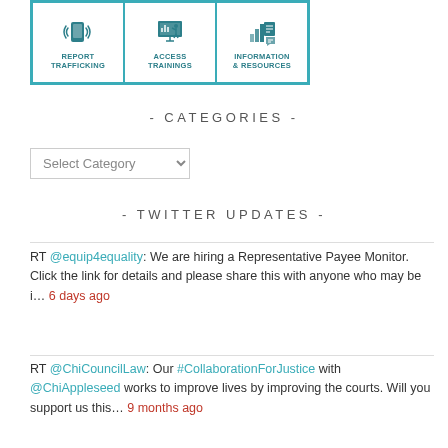[Figure (infographic): App interface showing three options: Report Trafficking (phone icon), Access Trainings (presenter icon), Information & Resources (documents icon), all in teal border]
- CATEGORIES -
Select Category dropdown
- TWITTER UPDATES -
RT @equip4equality: We are hiring a Representative Payee Monitor. Click the link for details and please share this with anyone who may be i… 6 days ago
RT @ChiCouncilLaw: Our #CollaborationForJustice with @ChiAppleseed works to improve lives by improving the courts. Will you support us this… 9 months ago